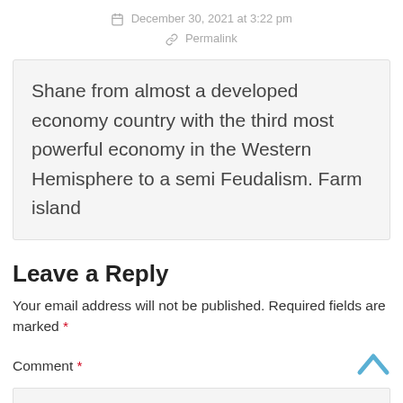December 30, 2021 at 3:22 pm
Permalink
Shane from almost a developed economy country with the third most powerful economy in the Western Hemisphere to a semi Feudalism. Farm island
Leave a Reply
Your email address will not be published. Required fields are marked *
Comment *